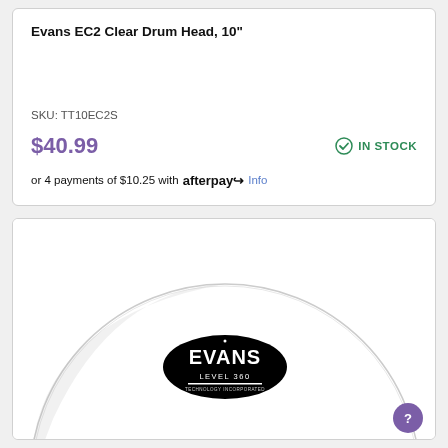Evans EC2 Clear Drum Head, 10"
SKU: TT10EC2S
$40.99
IN STOCK
or 4 payments of $10.25 with afterpay Info
[Figure (photo): Evans EC2 Clear Drum Head product photo showing a round drum head with Evans Level 360 logo in the center, viewed from above at slight angle]